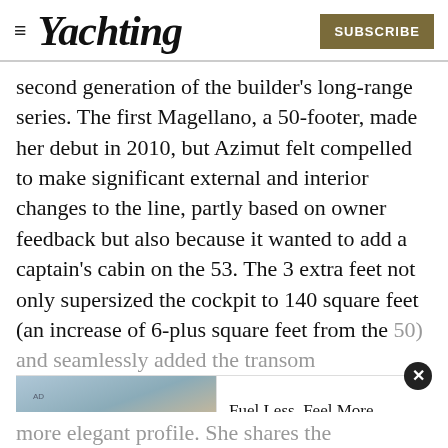≡ Yachting   SUBSCRIBE
second generation of the builder's long-range series. The first Magellano, a 50-footer, made her debut in 2010, but Azimut felt compelled to make significant external and interior changes to the line, partly based on owner feedback but also because it wanted to add a captain's cabin on the 53. The 3 extra feet not only supersized the cockpit to 140 square feet (an increase of 6-plus square feet from the 50) and seamlessly added the transom cabi... more elegant profile. She shares the
[Figure (photo): Advertisement overlay showing a boat with people on deck, with Volvo Penta tagline 'Fuel Less, Feel More.']